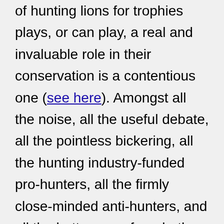of hunting lions for trophies plays, or can play, a real and invaluable role in their conservation is a contentious one (see here). Amongst all the noise, all the useful debate, all the pointless bickering, all the hunting industry-funded pro-hunters, all the firmly close-minded anti-hunters, and all the better ones from both camps, the sanest voice belongs to that of the organisation LionAid (http://www.lionaid.org/). A UK based charity, they are involved in many aspects of lion conservation, but stand out the most in educating the public, raising awareness, and cutting through all that noise to provide clear, wise, fact-based-yet-extremely-passionate information and the importance th